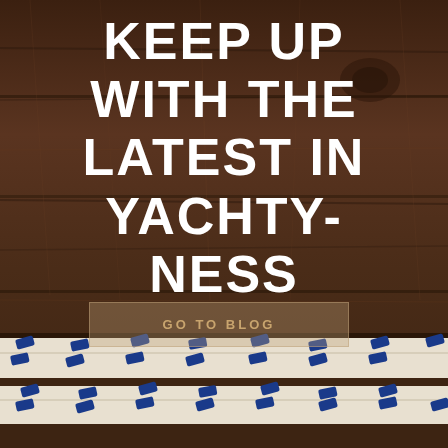[Figure (photo): Dark brown wood plank background with white nautical rope with blue stitching at the bottom]
KEEP UP WITH THE LATEST IN YACHTY-NESS
GO TO BLOG